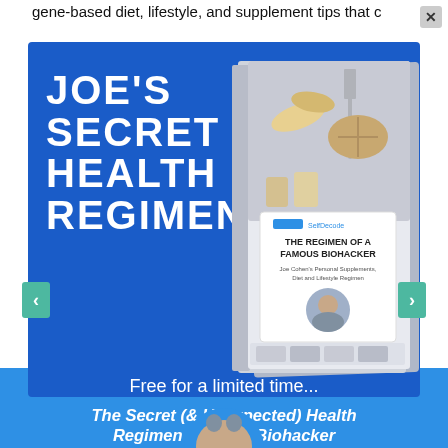gene-based diet, lifestyle, and supplement tips that c
[Figure (illustration): Promotional popup/ad image with dark blue background on left showing text 'JOE'S SECRET HEALTH REGIMEN' in large white bold uppercase letters, and a book on the right titled 'THE REGIMEN OF A FAMOUS BIOHACKER - Joe Cohen's Personal Supplements, Diet and Lifestyle Regimen' with a photo of a man and food items on the cover. Below is a lighter blue bar with text 'Free for a limited time...' and 'The Secret (& Unexpected) Health Regimen of a Top Biohacker'. A partial face/head appears at the bottom.]
Free for a limited time...
The Secret (& Unexpected) Health Regimen of a Top Biohacker